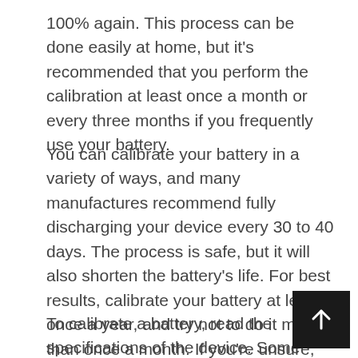100% again. This process can be done easily at home, but it's recommended that you perform the calibration at least once a month or every three months if you frequently use your battery.
You can calibrate your battery in a variety of ways, and many manufactures recommend fully discharging your device every 30 to 40 days. The process is safe, but it will also shorten the battery's life. For best results, calibrate your battery at least once a year, and try not to do it more than once a month. If you're unsure, consult your user manual or the manufacturer's documentation to find out how to do this.
To calibrate a battery, read the specifications of the device. Some batteries have an accumulated error, while